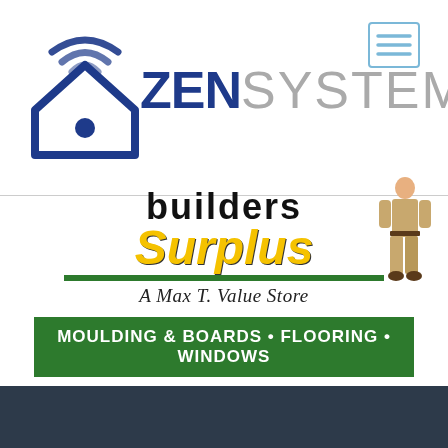[Figure (logo): Zen Systems logo: blue house icon with wifi signal waves above it, followed by 'ZEN' in bold dark navy and 'SYSTEMS' in light gray text]
[Figure (logo): Builders Surplus logo: black 'builders' text partially visible at top, large yellow 'Surplus' italic text, green underline bar, italic script 'A Max T. Value Store' tagline, figure of a man in khakis standing to the right]
[Figure (infographic): Green banner with white bold text: MOULDING & BOARDS • FLOORING • WINDOWS]